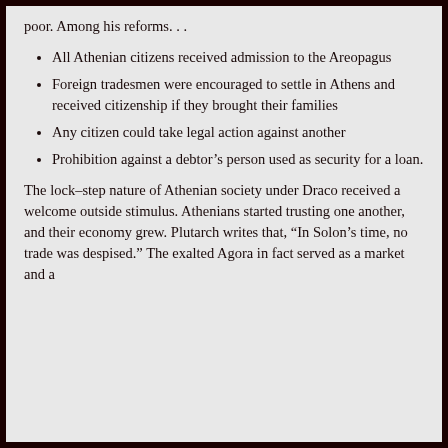poor.  Among his reforms. . .
All Athenian citizens received admission to the Areopagus
Foreign tradesmen were encouraged to settle in Athens and received citizenship if they brought their families
Any citizen could take legal action against another
Prohibition against a debtor's person used as security for a loan.
The lock-step nature of Athenian society under Draco received a welcome outside stimulus.  Athenians started trusting one another, and their economy grew.  Plutarch writes that, “In Solon’s time, no trade was despised.”  The exalted Agora in fact served as a market and a